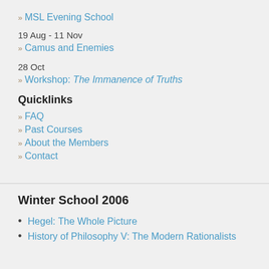» MSL Evening School
19 Aug - 11 Nov
» Camus and Enemies
28 Oct
» Workshop: The Immanence of Truths
Quicklinks
» FAQ
» Past Courses
» About the Members
» Contact
Winter School 2006
Hegel: The Whole Picture
History of Philosophy V: The Modern Rationalists